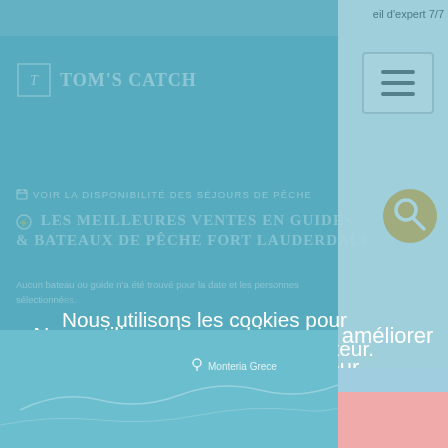eil d'expert 7/7
[Figure (screenshot): Tom's Catch website screenshot showing fishing guide listings for Fort Lauderdale, with teal background, logo at top left, navigation links, and a Monteria Grece map at the bottom]
Nous utilisons les cookies pour améliorer l'expérience de l'utilisateur.
Lire plus
OK!